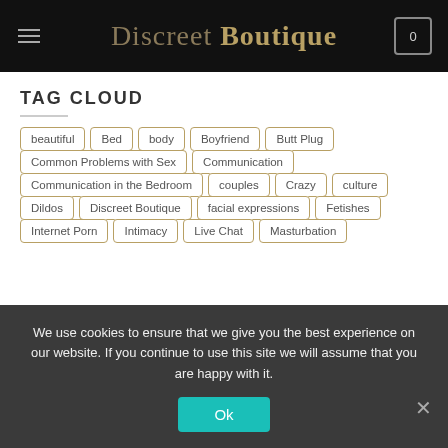Discreet Boutique
TAG CLOUD
beautiful
Bed
body
Boyfriend
Butt Plug
Common Problems with Sex
Communication
Communication in the Bedroom
couples
Crazy
culture
Dildos
Discreet Boutique
facial expressions
Fetishes
Internet Porn
Intimacy
Live Chat
Masturbation
We use cookies to ensure that we give you the best experience on our website. If you continue to use this site we will assume that you are happy with it.